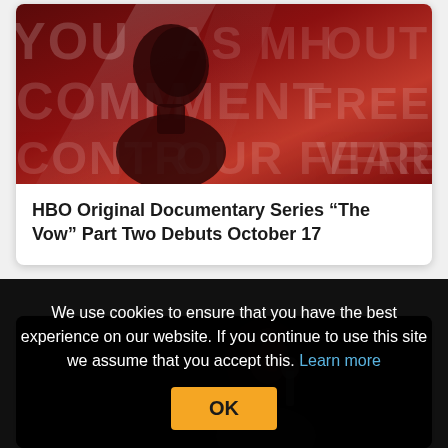[Figure (photo): A dark red/maroon artistic image showing a silhouette of a person's profile against a dramatic background with large text letters partially visible (words like COMMITMENT, FREEDOM, YOU, FEAR) with bright light beams]
HBO Original Documentary Series “The Vow” Part Two Debuts October 17
[Figure (photo): A dark image showing a woman's face partially lit against a very dark background]
We use cookies to ensure that you have the best experience on our website. If you continue to use this site we assume that you accept this. Learn more
OK